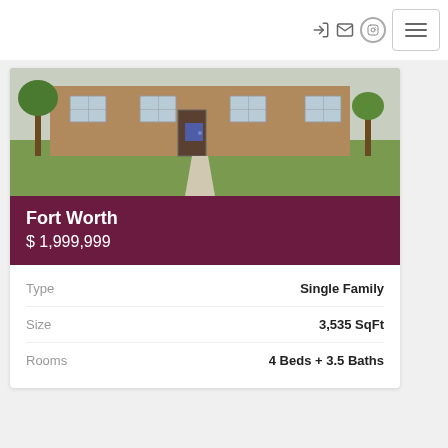navigation icons and hamburger menu
[Figure (photo): Exterior photo of a single-family home with brick facade, green lawn, and trees in front]
Fort Worth
$ 1,999,999
| Label | Value |
| --- | --- |
| Type | Single Family |
| Size | 3,535 SqFt |
| Rooms | 4 Beds + 3.5 Baths |